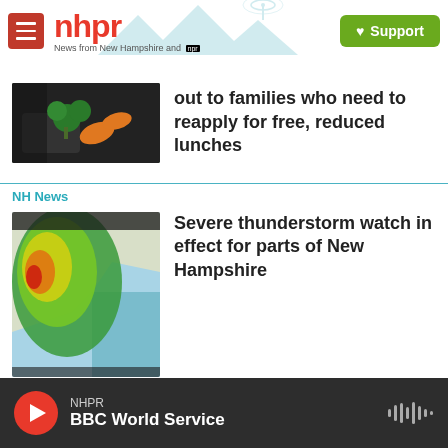nhpr — News from New Hampshire and NPR | Support
out to families who need to reapply for free, reduced lunches
NH News
Severe thunderstorm watch in effect for parts of New Hampshire
[Figure (photo): Radar map showing severe thunderstorm system over northeastern United States coastline]
NHPR — BBC World Service